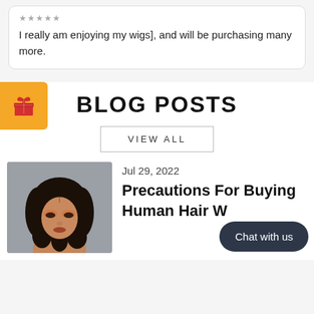★★★★★
I really am enjoying my wigs], and will be purchasing many more.
BLOG POSTS
VIEW ALL
[Figure (photo): Photo of a woman with long curly dark hair, wearing eye makeup, against a gray background]
Jul 29, 2022
Precautions For Buying Human Hair W
Chat with us